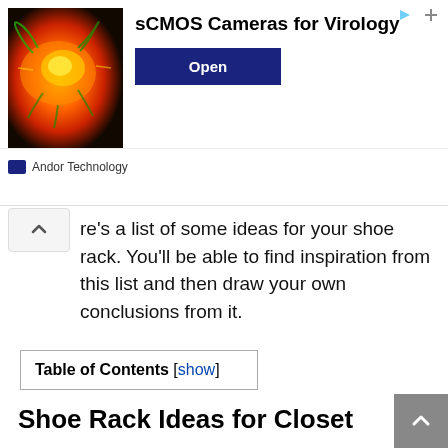[Figure (illustration): Advertisement banner: sCMOS Cameras for Virology by Andor Technology, with a fluorescent microscopy image of a cell/virus in orange and yellow, an 'Open' button, and navigation icons.]
re's a list of some ideas for your shoe rack. You'll be able to find inspiration from this list and then draw your own conclusions from it.
| Table of Contents [show] |
| --- |
Shoe Rack Ideas for Closet
There are a lot of ways to add shoe racks to closets, so many that they don't really require much space. There are also some ergonomic reasons why shoe racks in closets are better than other solutions.